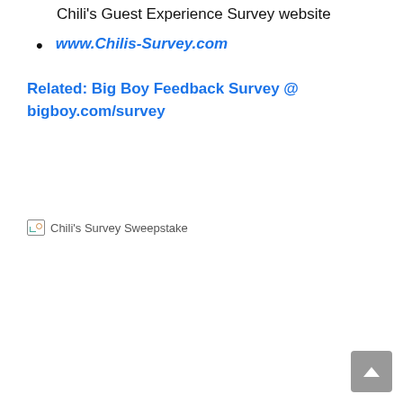Chili's Guest Experience Survey website
www.Chilis-Survey.com
Related: Big Boy Feedback Survey @ bigboy.com/survey
[Figure (photo): Chili's Survey Sweepstake broken image placeholder]